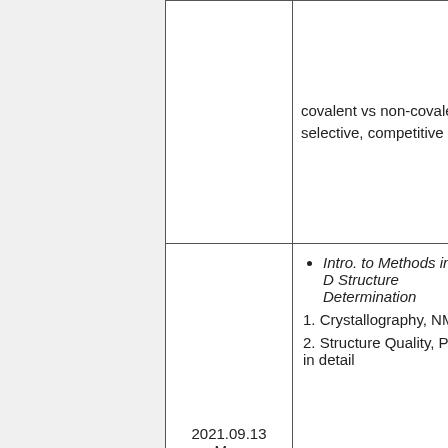|  | covalent vs non-covalent, selective, competitive |  |
| 2021.09.13
Mon | • Intro. to Methods in 3-D Structure Determination
1. Crystallography, NMR
2. Structure Quality, PDB in detail | Riz...
mp...
Riz... |
| - | - |  |